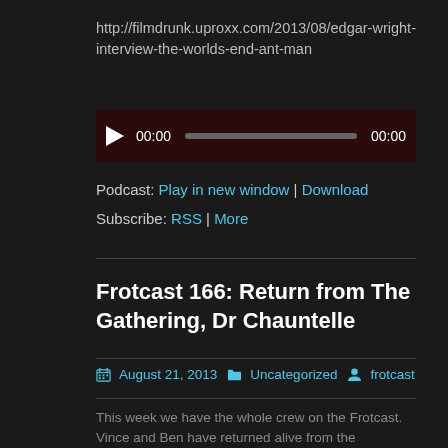http://filmdrunk.uproxx.com/2013/08/edgar-wright-interview-the-worlds-end-ant-man
[Figure (other): Audio player widget with play button, progress bar, and time display showing 00:00 on both ends, dark red/maroon background]
Podcast: Play in new window | Download
Subscribe: RSS | More
Frotcast 166: Return from The Gathering, Dr Chauntelle
August 21, 2013   Uncategorized   frotcast
This week we have the whole crew on the Frotcast. Vince and Ben have returned alive from the Gathering of the Juggalos and tell some stories from their adventures there. Brendan got another dog and lets us know the experience he went through to get dog #3. Then we bring